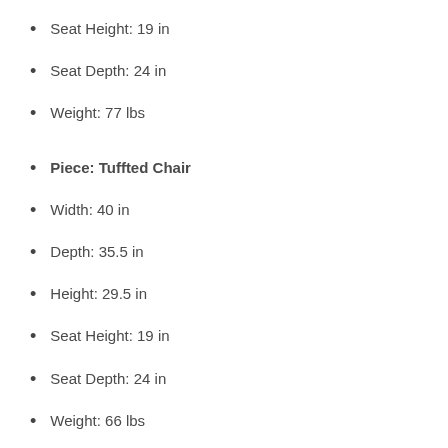Seat Height: 19 in
Seat Depth: 24 in
Weight: 77 lbs
Piece: Tuffted Chair
Width: 40 in
Depth: 35.5 in
Height: 29.5 in
Seat Height: 19 in
Seat Depth: 24 in
Weight: 66 lbs
A new and luxurious spin to our popular Chaviano collection.